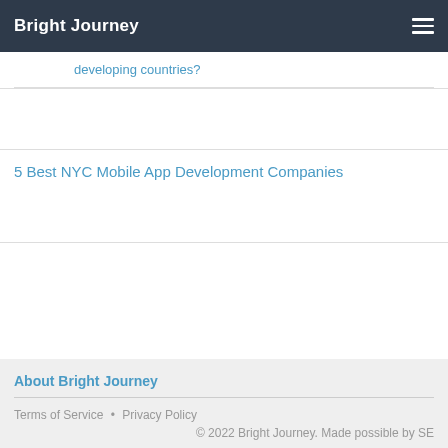Bright Journey
developing countries?
5 Best NYC Mobile App Development Companies
About Bright Journey
Terms of Service  •  Privacy Policy
© 2022 Bright Journey. Made possible by SE